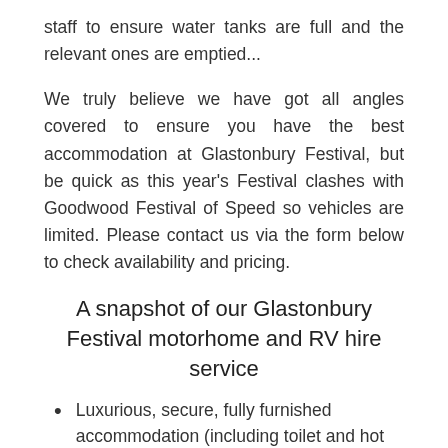staff to ensure water tanks are full and the relevant ones are emptied...
We truly believe we have got all angles covered to ensure you have the best accommodation at Glastonbury Festival, but be quick as this year's Festival clashes with Goodwood Festival of Speed so vehicles are limited. Please contact us via the form below to check availability and pricing.
A snapshot of our Glastonbury Festival motorhome and RV hire service
Luxurious, secure, fully furnished accommodation (including toilet and hot shower!!)
Heating and air-conditioning
Shopping service (cupboards and fridge